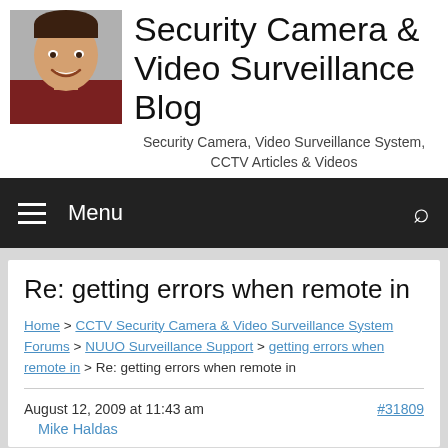[Figure (photo): Headshot photo of a man smiling, wearing a dark red shirt, used as site avatar]
Security Camera & Video Surveillance Blog
Security Camera, Video Surveillance System, CCTV Articles & Videos
Menu
Re: getting errors when remote in
Home > CCTV Security Camera & Video Surveillance System Forums > NUUO Surveillance Support > getting errors when remote in > Re: getting errors when remote in
August 12, 2009 at 11:43 am    #31809
Mike Haldas